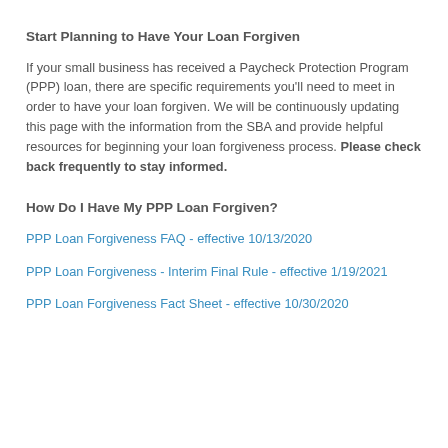Start Planning to Have Your Loan Forgiven
If your small business has received a Paycheck Protection Program (PPP) loan, there are specific requirements you'll need to meet in order to have your loan forgiven. We will be continuously updating this page with the information from the SBA and provide helpful resources for beginning your loan forgiveness process. Please check back frequently to stay informed.
How Do I Have My PPP Loan Forgiven?
PPP Loan Forgiveness FAQ - effective 10/13/2020
PPP Loan Forgiveness - Interim Final Rule - effective 1/19/2021
PPP Loan Forgiveness Fact Sheet - effective 10/30/2020